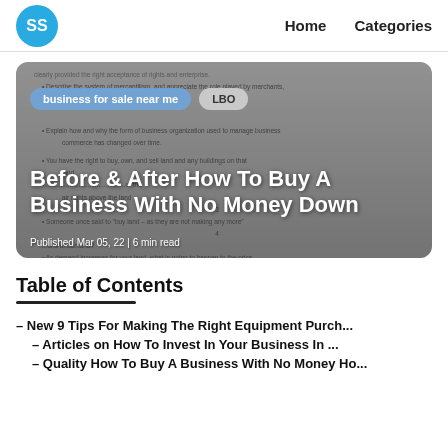SS  Home  Categories
[Figure (screenshot): Hero image showing a blurred document background with search badges 'business for sale near me' and 'LBO', overlaid with white bold title text 'Before & After How To Buy A Business With No Money Down' and metadata 'Published Mar 05, 22 | 6 min read']
Table of Contents
– New 9 Tips For Making The Right Equipment Purch...
– Articles on How To Invest In Your Business In ...
– Quality How To Buy A Business With No Money Ho...